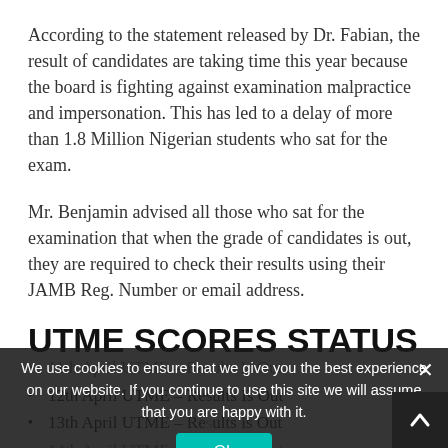According to the statement released by Dr. Fabian, the result of candidates are taking time this year because the board is fighting against examination malpractice and impersonation. This has led to a delay of more than 1.8 Million Nigerian students who sat for the exam.
Mr. Benjamin advised all those who sat for the examination that when the grade of candidates is out, they are required to check their results using their JAMB Reg. Number or email address.
UTME SCORES STATUS
11th April UTME – Results Is Out
12th April UTME – Results Is Out
13th April UTME – Results Is Out
14th April UTME – Results Is Out
We use cookies to ensure that we give you the best experience on our website. If you continue to use this site we will assume that you are happy with it.